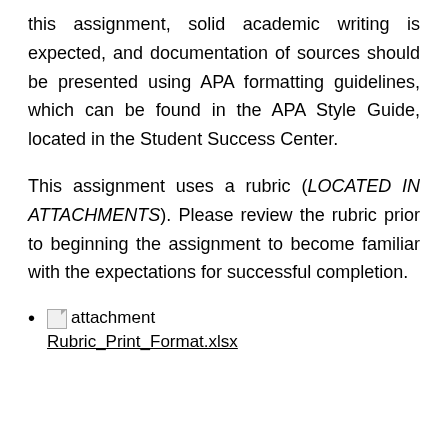this assignment, solid academic writing is expected, and documentation of sources should be presented using APA formatting guidelines, which can be found in the APA Style Guide, located in the Student Success Center.
This assignment uses a rubric (LOCATED IN ATTACHMENTS). Please review the rubric prior to beginning the assignment to become familiar with the expectations for successful completion.
attachment Rubric_Print_Format.xlsx